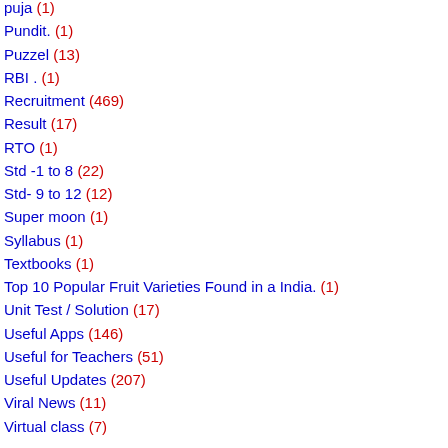puja (1)
Pundit. (1)
Puzzel (13)
RBI . (1)
Recruitment (469)
Result (17)
RTO (1)
Std -1 to 8 (22)
Std- 9 to 12 (12)
Super moon (1)
Syllabus (1)
Textbooks (1)
Top 10 Popular Fruit Varieties Found in a India. (1)
Unit Test / Solution (17)
Useful Apps (146)
Useful for Teachers (51)
Useful Updates (207)
Viral News (11)
Virtual class (7)